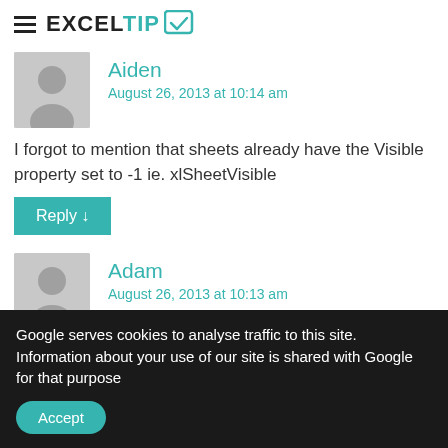ExcelTip
Aiden
August 26, 2013 at 10:14 am
I forgot to mention that sheets already have the Visible property set to -1 ie. xlSheetVisible
Reply ↓
Adam
August 26, 2013 at 10:13 am
"This all seems fine but I have created an XLA add-in that
Google serves cookies to analyse traffic to this site. Information about your use of our site is shared with Google for that purpose
Accept